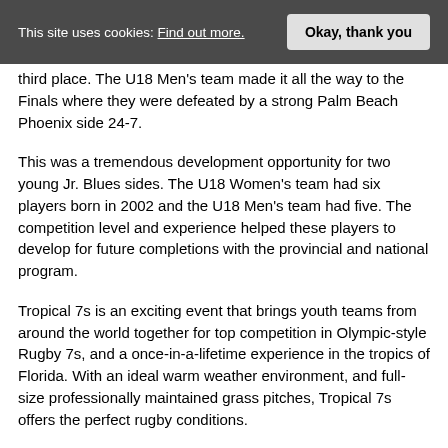This site uses cookies: Find out more.   Okay, thank you
third place. The U18 Men's team made it all the way to the Finals where they were defeated by a strong Palm Beach Phoenix side 24-7.
This was a tremendous development opportunity for two young Jr. Blues sides. The U18 Women's team had six players born in 2002 and the U18 Men's team had five. The competition level and experience helped these players to develop for future completions with the provincial and national program.
Tropical 7s is an exciting event that brings youth teams from around the world together for top competition in Olympic-style Rugby 7s, and a once-in-a-lifetime experience in the tropics of Florida. With an ideal warm weather environment, and full-size professionally maintained grass pitches, Tropical 7s offers the perfect rugby conditions.
You can read here a few of the Pho...